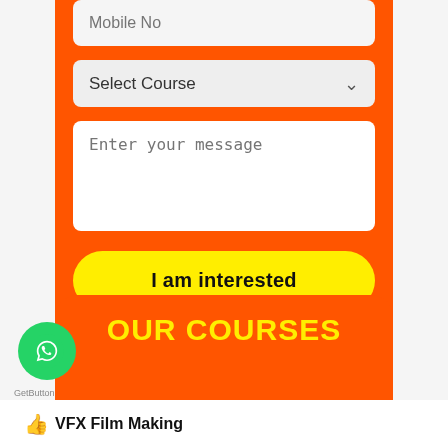[Figure (screenshot): Mobile No input field on orange background form]
[Figure (screenshot): Select Course dropdown on orange background form]
[Figure (screenshot): Enter your message textarea on orange background form]
[Figure (screenshot): I am interested yellow button on orange background form]
OUR COURSES
VFX Film Making